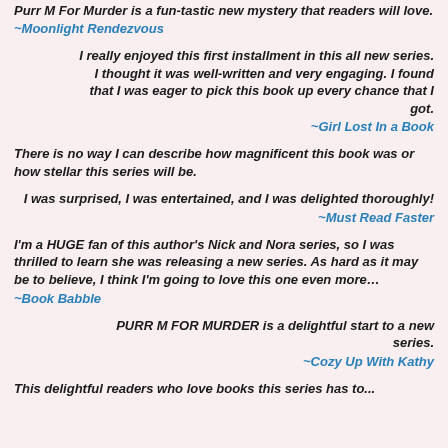Purr M For Murder is a fun-tastic new mystery that readers will love.
~Moonlight Rendezvous
I really enjoyed this first installment in this all new series. I thought it was well-written and very engaging. I found that I was eager to pick this book up every chance that I got.
~Girl Lost In a Book
There is no way I can describe how magnificent this book was or how stellar this series will be.
I was surprised, I was entertained, and I was delighted thoroughly!
~Must Read Faster
I'm a HUGE fan of this author's Nick and Nora series, so I was thrilled to learn she was releasing a new series. As hard as it may be to believe, I think I'm going to love this one even more...
~Book Babble
PURR M FOR MURDER is a delightful start to a new series.
~Cozy Up With Kathy
This deletes readers who love books this series has to...